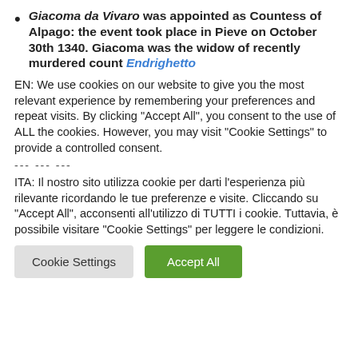Giacoma da Vivaro was appointed as Countess of Alpago: the event took place in Pieve on October 30th 1340. Giacoma was the widow of recently murdered count Endrighetto
EN: We use cookies on our website to give you the most relevant experience by remembering your preferences and repeat visits. By clicking "Accept All", you consent to the use of ALL the cookies. However, you may visit "Cookie Settings" to provide a controlled consent.
--- --- ---
ITA: Il nostro sito utilizza cookie per darti l'esperienza più rilevante ricordando le tue preferenze e visite. Cliccando su "Accept All", acconsenti all'utilizzo di TUTTI i cookie. Tuttavia, è possibile visitare "Cookie Settings" per leggere le condizioni.